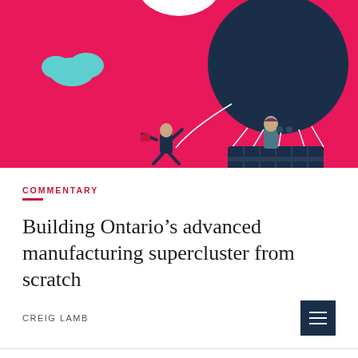[Figure (illustration): Illustrated scene on a bright pink/magenta background. On the right, a large dark navy hot air balloon with white rope lines holds a basket where a teal-colored woman in navy clothing looks through binoculars. On the left, a man in a suit falls or floats while holding onto a rope. A light blue cloud floats on the left side. At the top center, a partial white shape (possibly another balloon or object). Scene is colorful flat illustration style.]
COMMENTARY
Building Ontario’s advanced manufacturing supercluster from scratch
CREIG LAMB